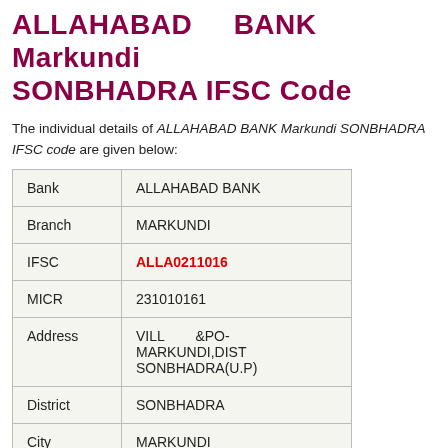ALLAHABAD BANK Markundi SONBHADRA IFSC Code
The individual details of ALLAHABAD BANK Markundi SONBHADRA IFSC code are given below:
|  |  |
| --- | --- |
| Bank | ALLAHABAD BANK |
| Branch | MARKUNDI |
| IFSC | ALLA0211016 |
| MICR | 231010161 |
| Address | VILL &PO-MARKUNDI,DIST SONBHADRA(U.P) |
| District | SONBHADRA |
| City | MARKUNDI |